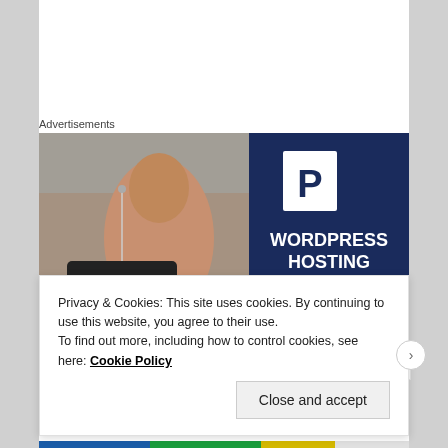Advertisements
[Figure (screenshot): Advertisement banner for WordPress hosting. Left side shows a woman smiling and holding an OPEN sign against a store window background. Right side is dark navy blue with a white P logo and text: WORDPRESS HOSTING THAT MEANS BUSINESS.]
Privacy & Cookies: This site uses cookies. By continuing to use this website, you agree to their use.
To find out more, including how to control cookies, see here: Cookie Policy
Close and accept